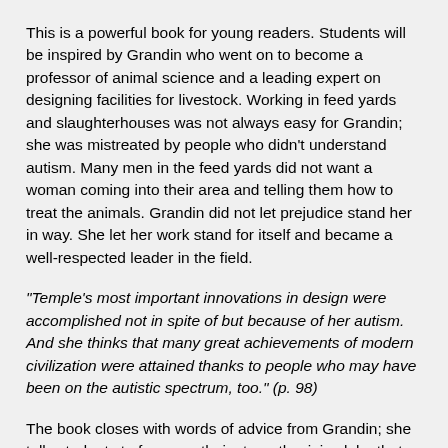This is a powerful book for young readers. Students will be inspired by Grandin who went on to become a professor of animal science and a leading expert on designing facilities for livestock. Working in feed yards and slaughterhouses was not always easy for Grandin; she was mistreated by people who didn't understand autism. Many men in the feed yards did not want a woman coming into their area and telling them how to treat the animals. Grandin did not let prejudice stand her in way. She let her work stand for itself and became a well-respected leader in the field.
"Temple's most important innovations in design were accomplished not in spite of but because of her autism. And she thinks that many great achievements of modern civilization were attained thanks to people who may have been on the autistic spectrum, too." (p. 98)
The book closes with words of advice from Grandin; she tells students to focus on their strengths, join clubs that interest them, and get a part-time job to learn how to work with others. Temple Grandin: How the Girl Who Loved Cows